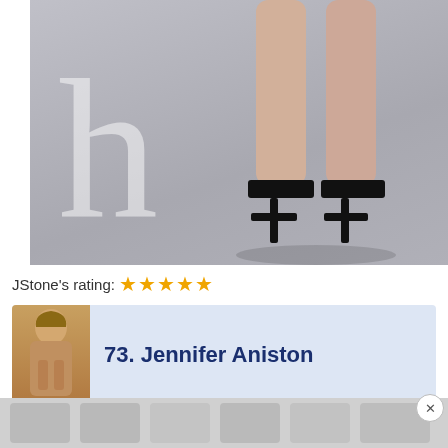[Figure (photo): Photo showing the lower legs and high-heeled shoes of a person against a grey background, with a large decorative letter 'h' overlaid on the left side.]
JStone's rating: ★★★★★
73. Jennifer Aniston
[Figure (photo): Thumbnail photo of Jennifer Aniston]